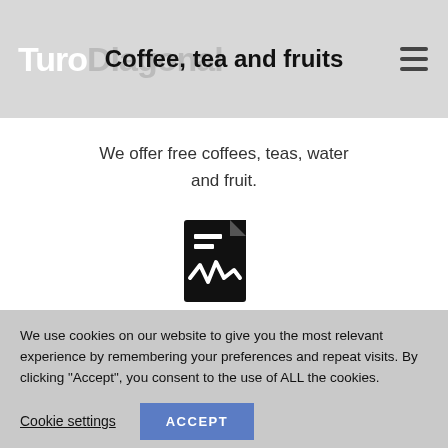TuroDiagonal — Coffee, tea and fruits
Coffee, tea and fruits
We offer free coffees, teas, water and fruit.
[Figure (illustration): Black document/contract icon with lines and a waveform graphic]
Contracts
We use cookies on our website to give you the most relevant experience by remembering your preferences and repeat visits. By clicking “Accept”, you consent to the use of ALL the cookies.
Cookie settings   ACCEPT